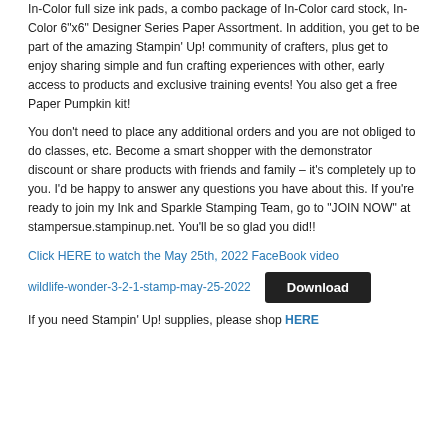In-Color full size ink pads, a combo package of In-Color card stock, In-Color 6"x6" Designer Series Paper Assortment. In addition, you get to be part of the amazing Stampin' Up! community of crafters, plus get to enjoy sharing simple and fun crafting experiences with other, early access to products and exclusive training events! You also get a free Paper Pumpkin kit!
You don't need to place any additional orders and you are not obliged to do classes, etc. Become a smart shopper with the demonstrator discount or share products with friends and family – it's completely up to you. I'd be happy to answer any questions you have about this. If you're ready to join my Ink and Sparkle Stamping Team, go to "JOIN NOW" at stampersue.stampinup.net. You'll be so glad you did!!
Click HERE to watch the May 25th, 2022 FaceBook video
wildlife-wonder-3-2-1-stamp-may-25-2022
Download
If you need Stampin' Up! supplies, please shop HERE